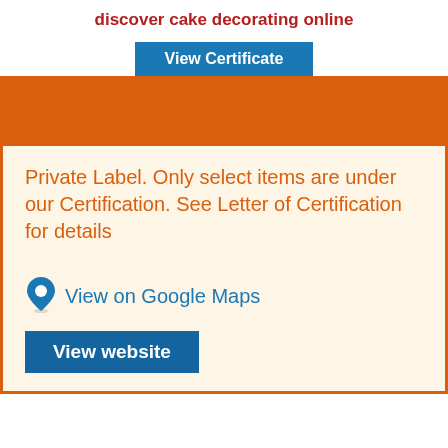discover cake decorating online
View Certificate
Private Label. Only select items are under our Certification. See Letter of Certification for details
View on Google Maps
View website